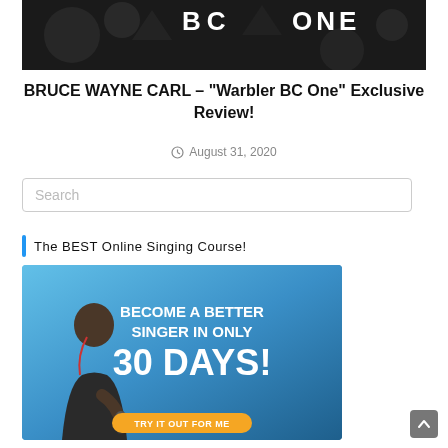[Figure (photo): Black and white image showing 'BC ONE' text sign with decorative elements]
BRUCE WAYNE CARL – "Warbler BC One" Exclusive Review!
August 31, 2020
[Figure (other): Search box input field]
The BEST Online Singing Course!
[Figure (photo): Advertisement banner: BECOME A BETTER SINGER IN ONLY 30 DAYS! with a man holding a microphone]